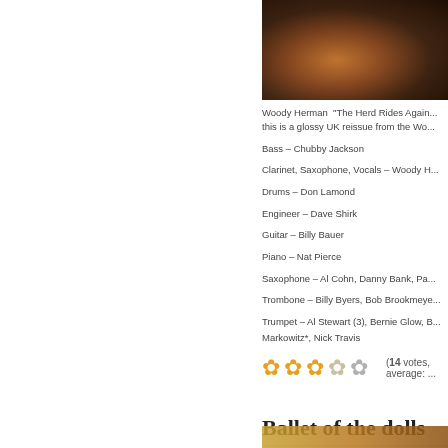[Figure (photo): Close-up photo of a musical instrument (likely a guitar neck or drum hardware), dark brown tones]
Woody Herman  "The Herd Rides Again... this is a glossy UK reissue from the Wo...
Bass – Chubby Jackson
Clarinet, Saxophone, Vocals – Woody H...
Drums – Don Lamond
Engineer – Dave Shirk
Guitar – Billy Bauer
Piano – Nat Pierce
Saxophone – Al Cohn, Danny Bank, Pa...
Trombone – Billy Byers, Bob Brookmeye...
Trumpet – Al Stewart (3), Bernie Glow, B... Markowitz*, Nick Travis
[Figure (other): Star rating icons (4.5 out of 5 vinyl record spindle icons in gold/grey)]
(14 votes, average: ...
Ballet of the dolls
July 4th, 2019 in Illustration, Jazz, Records and...
[Figure (photo): Bottom strip showing part of a record/album cover]